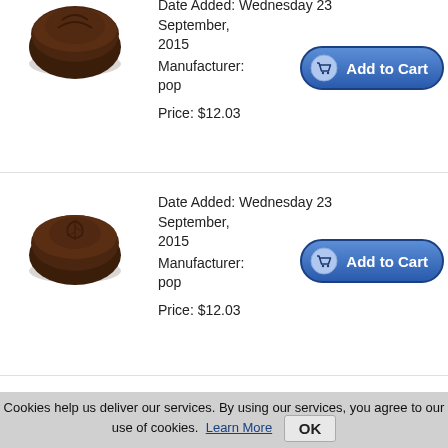[Figure (photo): Dark chocolate candy top view, round with embossed design]
Date Added: Wednesday 23 September, 2015
Manufacturer: pop

Price: $12.03
[Figure (photo): Dark chocolate candy round with leaf embossed design]
Date Added: Wednesday 23 September, 2015
Manufacturer: pop

Price: $12.03
[Figure (photo): Dark chocolate candy round with yin-yang embossed design]
Date Added: Wednesday 23 September, 2015
Cookies help us deliver our services. By using our services, you agree to our use of cookies.
Learn More
OK